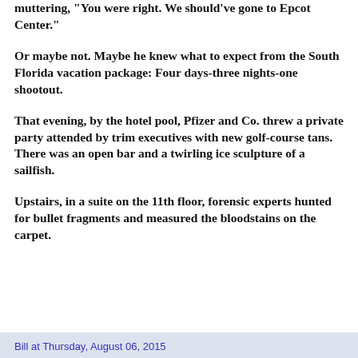muttering, "You were right. We should've gone to Epcot Center."
Or maybe not. Maybe he knew what to expect from the South Florida vacation package: Four days-three nights-one shootout.
That evening, by the hotel pool, Pfizer and Co. threw a private party attended by trim executives with new golf-course tans. There was an open bar and a twirling ice sculpture of a sailfish.
Upstairs, in a suite on the 11th floor, forensic experts hunted for bullet fragments and measured the bloodstains on the carpet.
Bill at Thursday, August 06, 2015